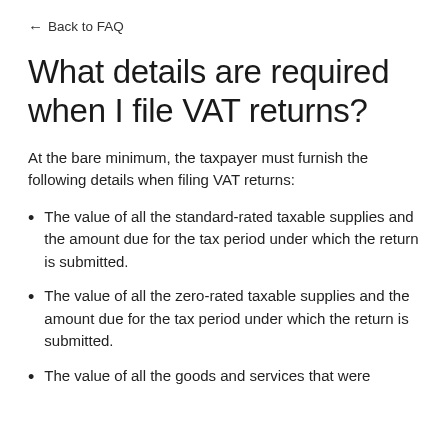← Back to FAQ
What details are required when I file VAT returns?
At the bare minimum, the taxpayer must furnish the following details when filing VAT returns:
The value of all the standard-rated taxable supplies and the amount due for the tax period under which the return is submitted.
The value of all the zero-rated taxable supplies and the amount due for the tax period under which the return is submitted.
The value of all the goods and services that were